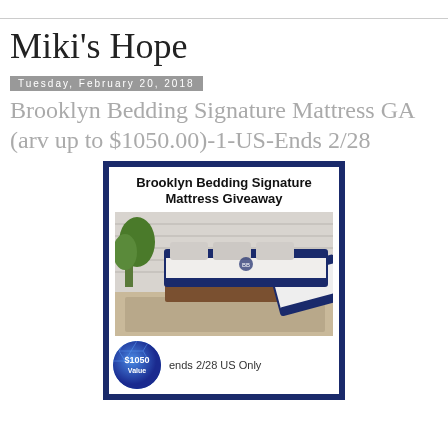Miki's Hope
Tuesday, February 20, 2018
Brooklyn Bedding Signature Mattress GA (arv up to $1050.00)-1-US-Ends 2/28
[Figure (photo): Promotional giveaway card for Brooklyn Bedding Signature Mattress. Shows a blue-bordered card with the title 'Brooklyn Bedding Signature Mattress Giveaway', a photo of a mattress and bed with pillows in a room setting, a blue circular badge showing '$1050 Value', and text 'ends 2/28 US Only'.]